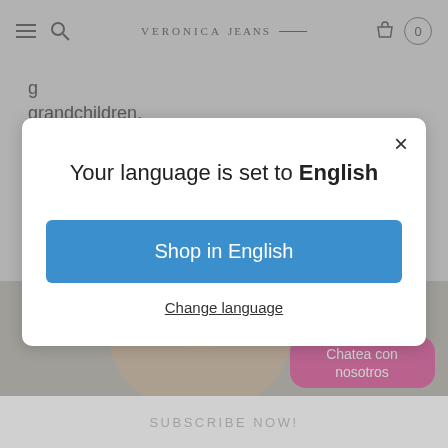VERONICAJEANS
grandchildren.
[Figure (screenshot): Modal dialog on e-commerce website with language selection. Title: 'Your language is set to English'. Blue button: 'Shop in English'. Link: 'Change language'.]
[Figure (photo): Woman laughing, with a pink chat bubble reading 'Chatea con nosotros']
SUBSCRIBE NOW!